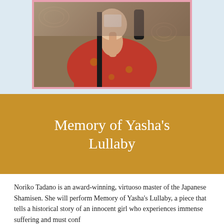[Figure (photo): A woman in a red kimono with long black hair, photographed from the upper body, holding something near her face, with decorative fabric in the background.]
Memory of Yasha's Lullaby
Noriko Tadano is an award-winning, virtuoso master of the Japanese Shamisen. She will perform Memory of Yasha's Lullaby, a piece that tells a historical story of an innocent girl who experiences immense suffering and must confront countless issues, many that women still face this current day. Despite her relentless resilience, the trauma becomes too great and she transforms into a vengeful demon (Yasha) full of anger and sadness. Is this simply her fate, or can she choose another destiny?